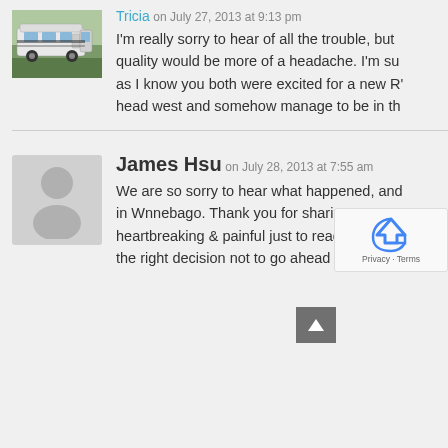[Figure (photo): RV/motorhome parked outdoors, user avatar for commenter Tricia]
Tricia on July 27, 2013 at 9:13 pm
I'm really sorry to hear of all the trouble, but quality would be more of a headache. I'm su as I know you both were excited for a new R' head west and somehow manage to be in th
[Figure (illustration): Default grey avatar silhouette for commenter James Hsu]
James Hsu on July 28, 2013 at 7:55 am
We are so sorry to hear what happened, and in Wnnebago. Thank you for sharing your st heartbreaking & painful just to read. We do the right decision not to go ahead with the s